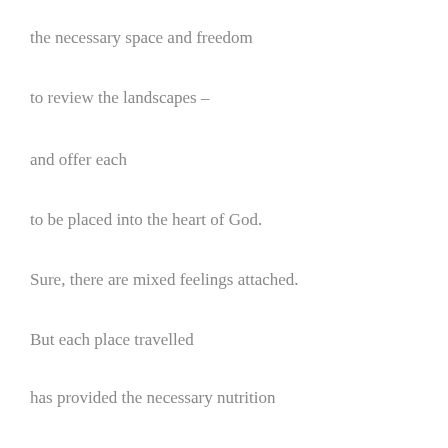the necessary space and freedom
to review the landscapes –
and offer each
to be placed into the heart of God.
Sure, there are mixed feelings attached.
But each place travelled
has provided the necessary nutrition
for the current unfolding.
I have found that